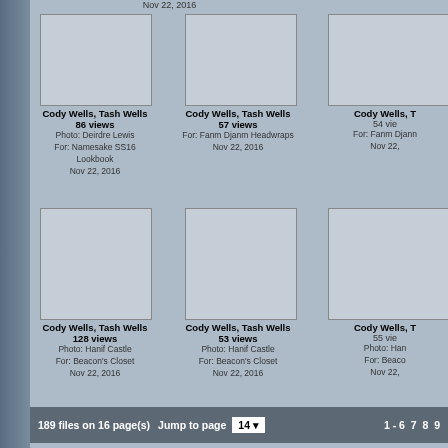Nov 22, 2016
Nov 22, 2016
[Figure (photo): Thumbnail placeholder 1]
Cody Wells, Tash Wells
86 views
Photo: Deirdre Lewis
For: Namesake SS16 Lookbook
Nov 22, 2016
[Figure (photo): Thumbnail placeholder 2]
Cody Wells, Tash Wells
57 views
For: Fanm Djanm Headwraps
Nov 22, 2016
[Figure (photo): Thumbnail placeholder 3]
Cody Wells, T
54 vie
For: Fanm Djann
Nov 22,
[Figure (photo): Thumbnail placeholder 4]
Cody Wells, Tash Wells
128 views
Photo: Hanif Castle
For: Beacon's Closet
Nov 22, 2016
[Figure (photo): Thumbnail placeholder 5]
Cody Wells, Tash Wells
53 views
Photo: Hanif Castle
For: Beacon's Closet
Nov 22, 2016
[Figure (photo): Thumbnail placeholder 6]
Cody Wells, T
55 vie
Photo: Han
For: Beaco
Nov 22,
189 files on 16 page(s)   Jump to page  14 ▾    1 - 6   7   8   9
Powered by Coppermine Photo Gallery